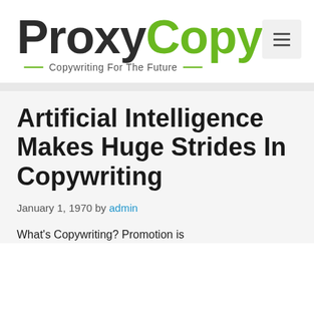[Figure (logo): ProxyCopy logo with 'Proxy' in dark charcoal and 'Copy' in green, with tagline 'Copywriting For The Future' below with green dashes on either side]
Artificial Intelligence Makes Huge Strides In Copywriting
January 1, 1970 by admin
What's Copywriting? Promotion is